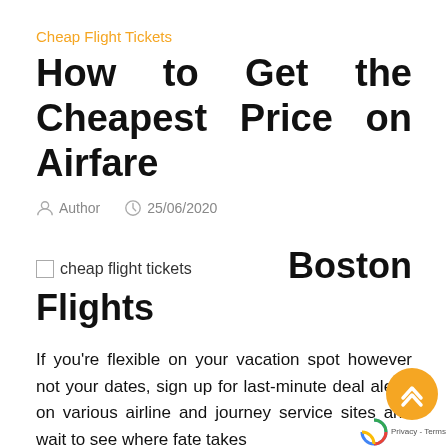Cheap Flight Tickets
How to Get the Cheapest Price on Airfare
Author   25/06/2020
cheap flight tickets   Boston Flights
If you're flexible on your vacation spot however not your dates, sign up for last-minute deal alerts on various airline and journey service sites and wait to see where fate takes you. Fare Compare claims that one of the best time